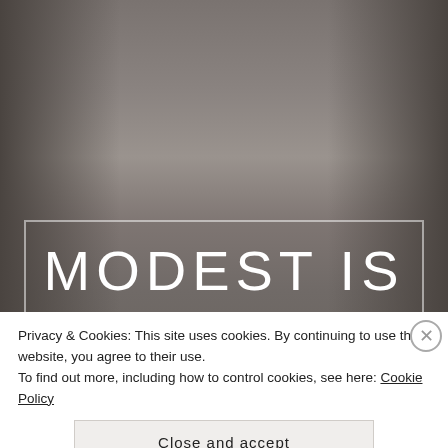[Figure (photo): Background photo of what appears to be a corridor or aisle with blurred shelving or walls on both sides, in muted grey-brown tones.]
MODEST IS
Privacy & Cookies: This site uses cookies. By continuing to use this website, you agree to their use.
To find out more, including how to control cookies, see here: Cookie Policy
Close and accept